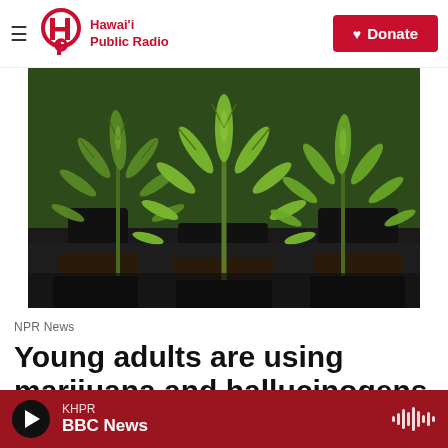Hawaiʻi Public Radio — Donate
[Figure (photo): Close-up photograph of young cannabis/marijuana plants with bright green serrated leaves growing in black plastic containers with soil]
NPR News
Young adults are using marijuana and hallucinogens at the highest rates on record
KHPR — BBC News (audio player bar)